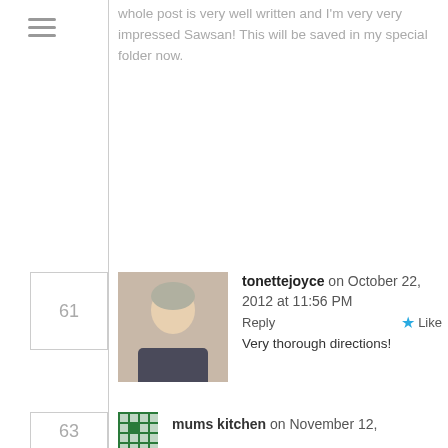whole post is very well written and I'm very very impressed Sawsan! This will be saved in my special folder now.
61 — tonettejoyce on October 22, 2012 at 11:56 PM — Reply — Like
Very thorough directions!
62 — Sawsan@ Chef in disguise on October 24, 2012 at 7:50 PM — Reply — Like
Thank you 🙂
mums kitchen on November 12,